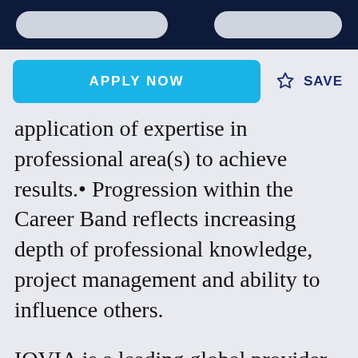APPLY NOW
SAVE
application of expertise in professional area(s) to achieve results.• Progression within the Career Band reflects increasing depth of professional knowledge, project management and ability to influence others.
IQVIA is a leading global provider of advanced analytics, technology solutions and clinical research services to the life sciences industry. We believe in pushing the boundaries of human science and data science to make the biggest impact